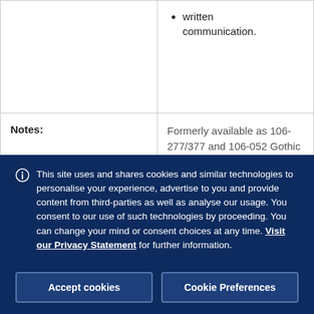|  | written communication. |
| Notes: | Formerly available as 106-277/377 and 106-052 Gothic Fictions. Students who have |
This site uses and shares cookies and similar technologies to personalise your experience, advertise to you and provide content from third-parties as well as analyse our usage. You consent to our use of such technologies by proceeding. You can change your mind or consent choices at any time. Visit our Privacy Statement for further information.
Accept cookies
Cookie Preferences